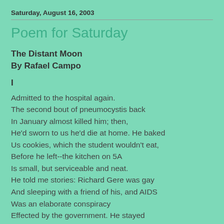Saturday, August 16, 2003
Poem for Saturday
The Distant Moon
By Rafael Campo
I
Admitted to the hospital again.
The second bout of pneumocystis back
In January almost killed him; then,
He'd sworn to us he'd die at home. He baked
Us cookies, which the student wouldn't eat,
Before he left--the kitchen on 5A
Is small, but serviceable and neat.
He told me stories: Richard Gere was gay
And sleeping with a friend of his, and AIDS
Was an elaborate conspiracy
Effected by the government. He stayed